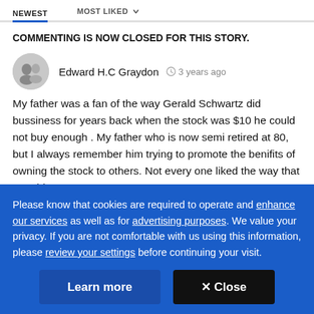NEWEST   MOST LIKED
COMMENTING IS NOW CLOSED FOR THIS STORY.
Edward H.C Graydon   3 years ago

My father was a fan of the way Gerald Schwartz did bussiness for years back when the stock was $10 he could not buy enough . My father who is now semi retired at 80, but I always remember him trying to promote the benifits of owning the stock to others. Not every one liked the way that Gerald
Please know that cookies are required to operate and enhance our services as well as for advertising purposes. We value your privacy. If you are not comfortable with us using this information, please review your settings before continuing your visit.